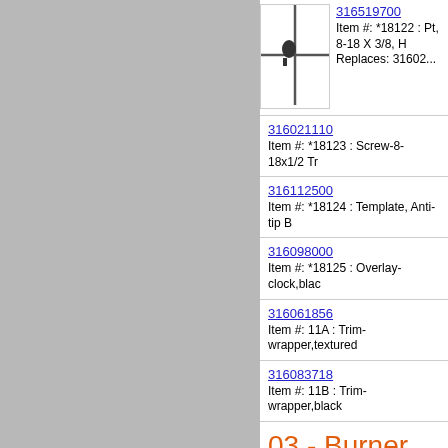[Figure (photo): Small screw/part photo on white background with grid lines]
316519700
Item #: *18122 : Pt, 8-18 X 3/8, H
Replaces: 31602...
316021110
Item #: *18123 : Screw-8-18x1/2 Tr
316112500
Item #: *18124 : Template, Anti-tip B
316098000
Item #: *18125 : Overlay-clock,blac
316061856
Item #: 11A : Trim-wrapper,textured
316083718
Item #: 11B : Trim-wrapper,black
03 - Burner
[Figure (engineering-diagram): Burner parts diagram with publication number 5995320693 and model FCG7204BSWD WE WF FO...  CAUTION: Use the part number on all o... BURNER heading, showing part 47 in circle and part 10]